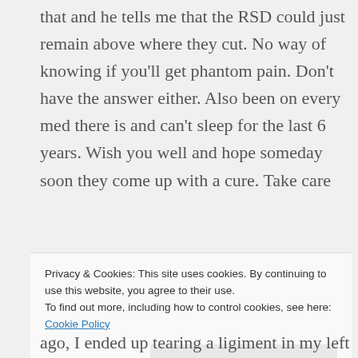that and he tells me that the RSD could just remain above where they cut. No way of knowing if you'll get phantom pain. Don't have the answer either. Also been on every med there is and can't sleep for the last 6 years. Wish you well and hope someday soon they come up with a cure. Take care
★ Like
👍 0 👎 0 ℹ Rate This
↩ Reply
Privacy & Cookies: This site uses cookies. By continuing to use this website, you agree to their use.
To find out more, including how to control cookies, see here: Cookie Policy
Close and accept
ago, I ended up tearing a ligiment in my left